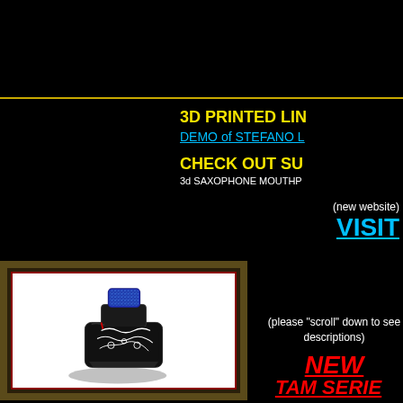3D PRINTED LIN
DEMO of STEFANO L
CHECK OUT SU
3d SAXOPHONE MOUTHP
(new website)
VISIT
[Figure (photo): Saxophone mouthpiece with blue glittery top and ornate black and white decorated body, displayed against white background inside a dark ornate frame]
(please "scroll" down to see descriptions)
NEW
TAM SERIE